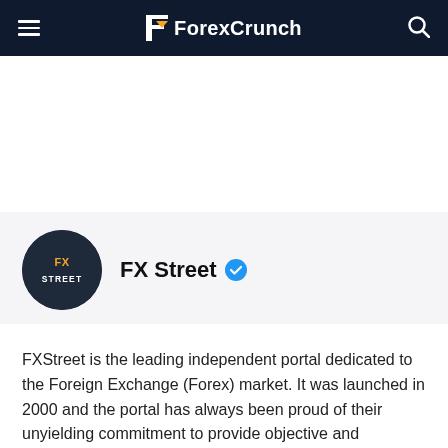ForexCrunch
[Figure (logo): FXStreet circular logo with dark navy background and orange/white text]
FX Street (verified)
FXStreet is the leading independent portal dedicated to the Foreign Exchange (Forex) market. It was launched in 2000 and the portal has always been proud of their unyielding commitment to provide objective and unbiased information, to enable their users to take better and more confident decisions.